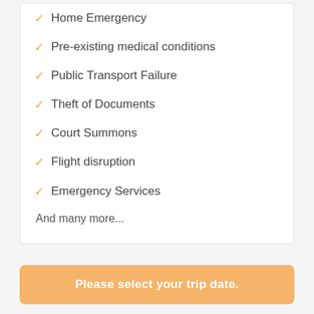Home Emergency
Pre-existing medical conditions
Public Transport Failure
Theft of Documents
Court Summons
Flight disruption
Emergency Services
And many more...
Please select your trip date.